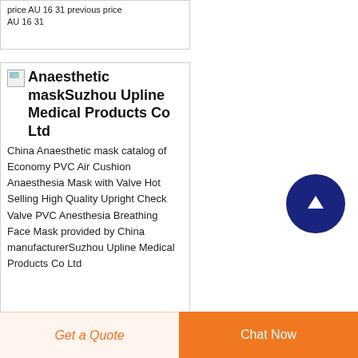price AU 16 31 previous price AU 16 31
Anaesthetic maskSuzhou Upline Medical Products Co Ltd
China Anaesthetic mask catalog of Economy PVC Air Cushion Anaesthesia Mask with Valve Hot Selling High Quality Upright Check Valve PVC Anesthesia Breathing Face Mask provided by China manufacturerSuzhou Upline Medical Products Co Ltd
[Figure (other): Scroll-to-top circular button with white upward arrow on dark navy blue background]
Get a Quote
Chat Now